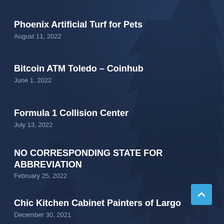Phoenix Artificial Turf for Pets
August 11, 2022
Bitcoin ATM Toledo – Coinhub
June 1, 2022
Formula 1 Collision Center
July 13, 2022
NO CORRESPONDING STATE FOR ABBREVIATION
February 25, 2022
Chic Kitchen Cabinet Painters of Largo
December 30, 2021